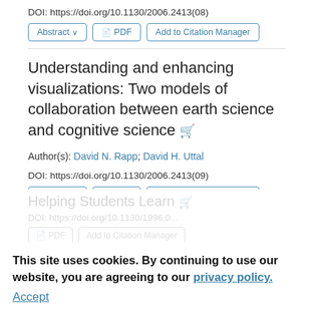DOI: https://doi.org/10.1130/2006.2413(08)
Abstract ∨   PDF   Add to Citation Manager
Understanding and enhancing visualizations: Two models of collaboration between earth science and cognitive science
Author(s): David N. Rapp; David H. Uttal
DOI: https://doi.org/10.1130/2006.2413(09)
Abstract ∨   PDF   Add to Citation Manager
Helping Students Learn
This site uses cookies. By continuing to use our website, you are agreeing to our privacy policy. Accept